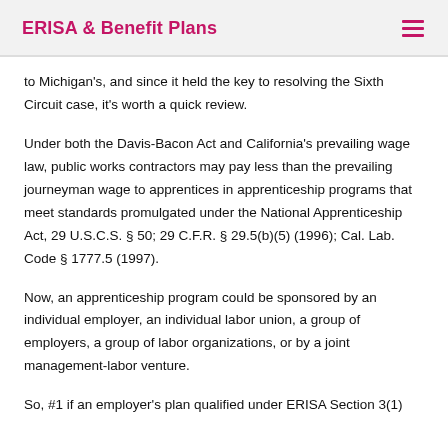ERISA & Benefit Plans
to Michigan's, and since it held the key to resolving the Sixth Circuit case, it's worth a quick review.
Under both the Davis-Bacon Act and California's prevailing wage law, public works contractors may pay less than the prevailing journeyman wage to apprentices in apprenticeship programs that meet standards promulgated under the National Apprenticeship Act, 29 U.S.C.S. § 50; 29 C.F.R. § 29.5(b)(5) (1996); Cal. Lab. Code § 1777.5 (1997).
Now, an apprenticeship program could be sponsored by an individual employer, an individual labor union, a group of employers, a group of labor organizations, or by a joint management-labor venture.
So, #1 if an employer's plan qualified under ERISA Section 3(1)